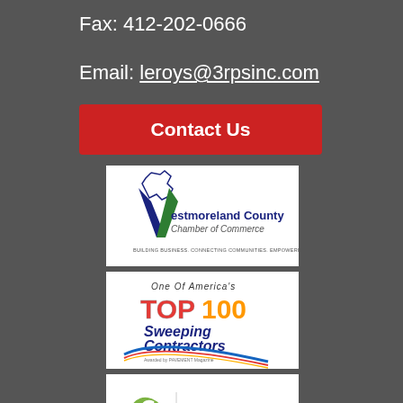Fax: 412-202-0666
Email: leroys@3rpsinc.com
Contact Us
[Figure (logo): Westmoreland County Chamber of Commerce logo with map outline and tagline: Building Business. Connecting Communities. Empowering People.]
[Figure (logo): One Of America's TOP 100 Sweeping Contractors logo awarded by Pavement magazine]
[Figure (logo): NAPSA logo with green swoosh icon]